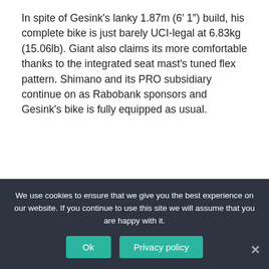In spite of Gesink's lanky 1.87m (6′ 1") build, his complete bike is just barely UCI-legal at 6.83kg (15.06lb). Giant also claims its more comfortable thanks to the integrated seat mast's tuned flex pattern. Shimano and its PRO subsidiary continue on as Rabobank sponsors and Gesink's bike is fully equipped as usual.
What kind of bottom brackets do GIANT bikes use?
Kogel Bearings offers two versions of bottom...
We use cookies to ensure that we give you the best experience on our website. If you continue to use this site we will assume that you are happy with it.